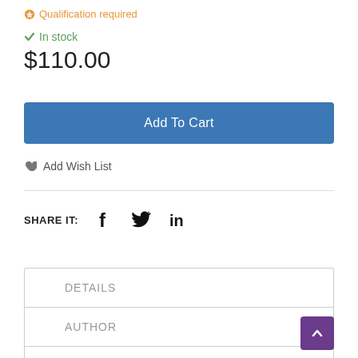Qualification required
In stock
$110.00
Add To Cart
Add Wish List
SHARE IT:
[Figure (other): Social share icons: Facebook (f), Twitter bird, LinkedIn (in)]
| DETAILS |
| AUTHOR |
| QUALIFICATION |